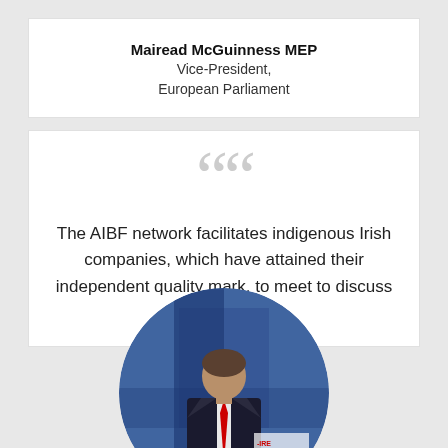Mairead McGuinness MEP
Vice-President,
European Parliament
The AIBF network facilitates indigenous Irish companies, which have attained their independent quality mark, to meet to discuss ideas.
[Figure (photo): Circular cropped photo of a man in a dark suit with a red tie, standing in front of a blue background with a conference banner partially visible showing '-IRE' and 'SS FO']